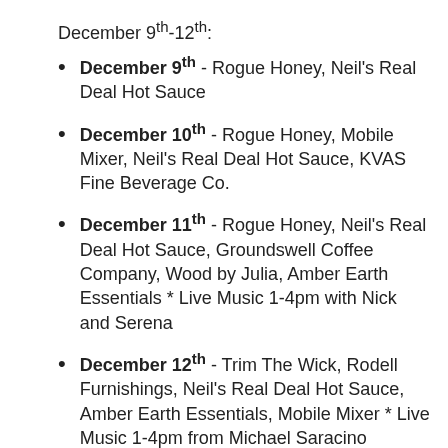December 9th-12th:
December 9th - Rogue Honey, Neil's Real Deal Hot Sauce
December 10th - Rogue Honey, Mobile Mixer, Neil's Real Deal Hot Sauce, KVAS Fine Beverage Co.
December 11th - Rogue Honey, Neil's Real Deal Hot Sauce, Groundswell Coffee Company, Wood by Julia, Amber Earth Essentials * Live Music 1-4pm with Nick and Serena
December 12th - Trim The Wick, Rodell Furnishings, Neil's Real Deal Hot Sauce, Amber Earth Essentials, Mobile Mixer * Live Music 1-4pm from Michael Saracino